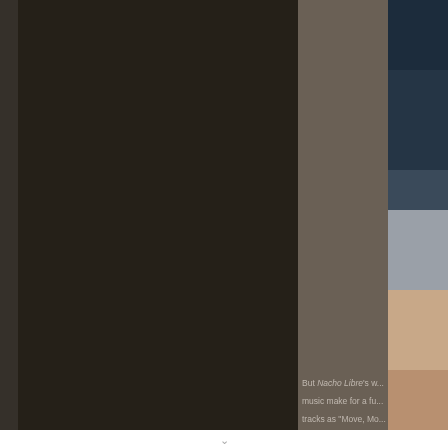[Figure (photo): Two-panel layout: left panel is a large dark nearly black rectangle (movie still, very dark). Right side shows a gray-brown column and partial photo of a person (appears to be a wrestling/movie scene from Nacho Libre), showing part of a figure in gray shirt and bare skin lower portion.]
But Nacho Libre's w... music make for a fu... tracks as "Move, Mo...